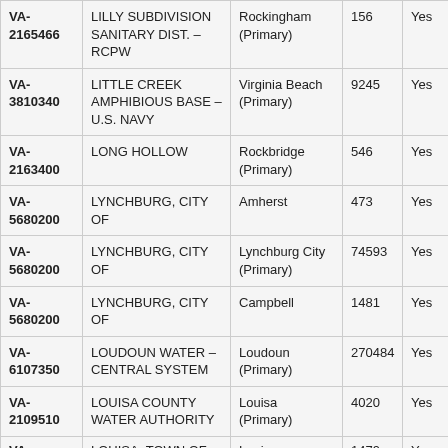| PWSID | System Name | County Served | Population Served | Fluoridated? |
| --- | --- | --- | --- | --- |
| VA-2165466 | LILLY SUBDIVISION SANITARY DIST. – RCPW | Rockingham (Primary) | 156 | Yes |
| VA-3810340 | LITTLE CREEK AMPHIBIOUS BASE – U.S. NAVY | Virginia Beach (Primary) | 9245 | Yes |
| VA-2163400 | LONG HOLLOW | Rockbridge (Primary) | 546 | Yes |
| VA-5680200 | LYNCHBURG, CITY OF | Amherst | 473 | Yes |
| VA-5680200 | LYNCHBURG, CITY OF | Lynchburg City (Primary) | 74593 | Yes |
| VA-5680200 | LYNCHBURG, CITY OF | Campbell | 1481 | Yes |
| VA-6107350 | LOUDOUN WATER – CENTRAL SYSTEM | Loudoun (Primary) | 270484 | Yes |
| VA-2109510 | LOUISA COUNTY WATER AUTHORITY | Louisa (Primary) | 4020 | Yes |
| VA-… | LOUISA, TOWN OF | Louisa | 1479 | Yes |